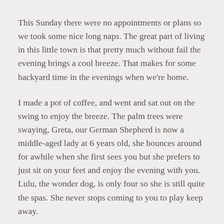This Sunday there were no appointments or plans so we took some nice long naps. The great part of living in this little town is that pretty much without fail the evening brings a cool breeze. That makes for some backyard time in the evenings when we're home.
I made a pot of coffee, and went and sat out on the swing to enjoy the breeze. The palm trees were swaying, Greta, our German Shepherd is now a middle-aged lady at 6 years old, she bounces around for awhile when she first sees you but she prefers to just sit on your feet and enjoy the evening with you. Lulu, the wonder dog, is only four so she is still quite the spas. She never stops coming to you to play keep away.